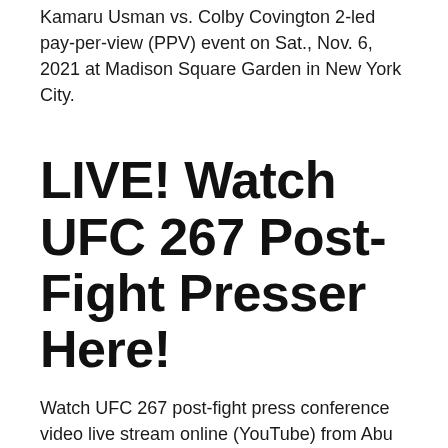Kamaru Usman vs. Colby Covington 2-led pay-per-view (PPV) event on Sat., Nov. 6, 2021 at Madison Square Garden in New York City.
LIVE! Watch UFC 267 Post-Fight Presser Here!
Watch UFC 267 post-fight press conference video live stream online (YouTube) from Abu Dhabi, with Jan Blachowicz, Glover Teixeira, Petr Yan, Cory Sandhagen, and Khamzat Chimaev.